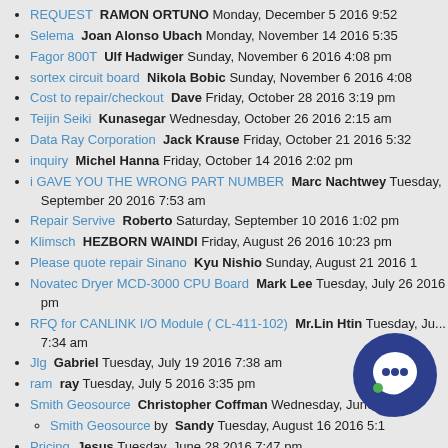REQUEST  RAMON ORTUNO Monday, December 5 2016 9:52
Selema  Joan Alonso Ubach Monday, November 14 2016 5:35
Fagor 800T  Ulf Hadwiger Sunday, November 6 2016 4:08 pm
sortex circuit board  Nikola Bobic Sunday, November 6 2016 4:08
Cost to repair/checkout  Dave Friday, October 28 2016 3:19 pm
Teijin Seiki  Kunasegar Wednesday, October 26 2016 2:15 am
Data Ray Corporation  Jack Krause Friday, October 21 2016 5:32
inquiry  Michel Hanna Friday, October 14 2016 2:02 pm
i GAVE YOU THE WRONG PART NUMBER  Marc Nachtwey Tuesday, September 20 2016 7:53 am
Repair Servive  Roberto Saturday, September 10 2016 1:02 pm
Klimsch  HEZBORN WAINDI Friday, August 26 2016 10:23 pm
Please quote repair Sinano  Kyu Nishio Sunday, August 21 2016 1
Novatec Dryer MCD-3000 CPU Board  Mark Lee Tuesday, July 26 2016 pm
RFQ for CANLINK I/O Module ( CL-411-102)  Mr.Lin Htin Tuesday, July 7:34 am
Jlg  Gabriel Tuesday, July 19 2016 7:38 am
ram  ray Tuesday, July 5 2016 3:35 pm
Smith Geosource  Christopher Coffman Wednesday, June 29 2016
Smith Geosource by  Sandy Tuesday, August 16 2016 5:1
Pricing  Jesus Tuesday, June 28 2016 7:47 pm
QUOTE REQUEST  COURTNEY LEAVITT Tuesday 2016
need parts  Matt Friday, June 17 2016 1:35 am
Jlg  emmanuel Wednesday, June 8 2016 4:47 pm
No Subject Given  Chris Atwater Monday, April 18 2016 5:06 pm